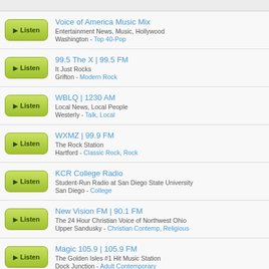Voice of America Music Mix | Entertainment News, Music, Hollywood | Washington - Top 40-Pop
99.5 The X | 99.5 FM | It Just Rocks | Grifton - Modern Rock
WBLQ | 1230 AM | Local News, Local People | Westerly - Talk, Local
WXMZ | 99.9 FM | The Rock Station | Hartford - Classic Rock, Rock
KCR College Radio | Student-Run Radio at San Diego State University | San Diego - College
New Vision FM | 90.1 FM | The 24 Hour Christian Voice of Northwest Ohio | Upper Sandusky - Christian Contemp, Religious
Magic 105.9 | 105.9 FM | The Golden Isles #1 Hit Music Station | Dock Junction - Adult Contemporary
98.9 Jack FM | 98.9 FM | Playing What We Want | Upper Arlington - Variety